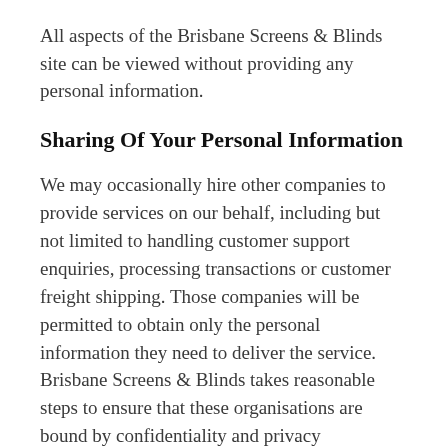All aspects of the Brisbane Screens & Blinds site can be viewed without providing any personal information.
Sharing Of Your Personal Information
We may occasionally hire other companies to provide services on our behalf, including but not limited to handling customer support enquiries, processing transactions or customer freight shipping. Those companies will be permitted to obtain only the personal information they need to deliver the service. Brisbane Screens & Blinds takes reasonable steps to ensure that these organisations are bound by confidentiality and privacy obligations relating to the protection of